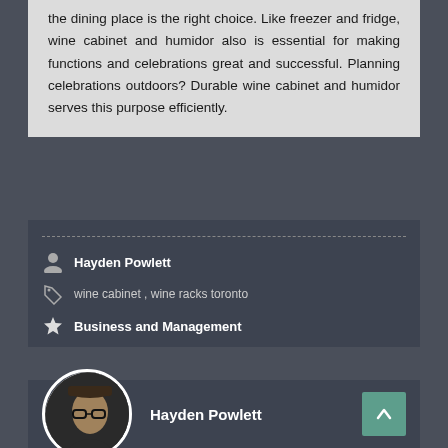the dining place is the right choice. Like freezer and fridge, wine cabinet and humidor also is essential for making functions and celebrations great and successful. Planning celebrations outdoors? Durable wine cabinet and humidor serves this purpose efficiently.
Hayden Powlett
wine cabinet , wine racks toronto
Business and Management
[Figure (photo): Circular profile photo of Hayden Powlett, a man wearing glasses and a hat, with dark background]
Hayden Powlett